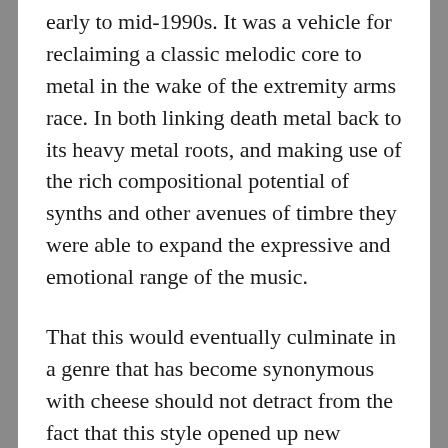early to mid-1990s. It was a vehicle for reclaiming a classic melodic core to metal in the wake of the extremity arms race. In both linking death metal back to its heavy metal roots, and making use of the rich compositional potential of synths and other avenues of timbre they were able to expand the expressive and emotional range of the music.
That this would eventually culminate in a genre that has become synonymous with cheese should not detract from the fact that this style opened up new potentials within a broadly extreme metal framework. Digging up albums like ‘Research’ is a welcome antidote to the fanfare of much modern metal, a dignified yet playful exploration of